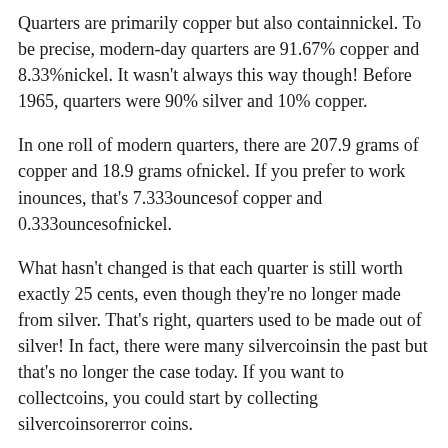Quarters are primarily copper but also containnickel. To be precise, modern-day quarters are 91.67% copper and 8.33%nickel. It wasn't always this way though! Before 1965, quarters were 90% silver and 10% copper.
In one roll of modern quarters, there are 207.9 grams of copper and 18.9 grams ofnickel. If you prefer to work inounces, that's 7.333ouncesof copper and 0.333ouncesofnickel.
What hasn't changed is that each quarter is still worth exactly 25 cents, even though they're no longer made from silver. That's right, quarters used to be made out of silver! In fact, there were many silvercoinsin the past but that's no longer the case today. If you want to collectcoins, you could start by collecting silvercoinsorerror coins.